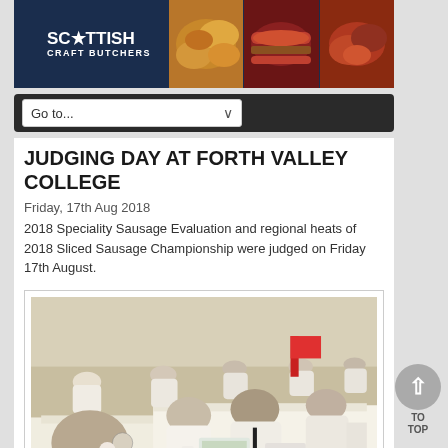[Figure (photo): Scottish Craft Butchers website header banner with logo on dark navy background and food photography images]
[Figure (screenshot): Navigation dropdown bar reading 'Go to...' with a chevron arrow on dark background]
JUDGING DAY AT FORTH VALLEY COLLEGE
Friday, 17th Aug 2018
2018 Speciality Sausage Evaluation and regional heats of 2018 Sliced Sausage Championship were judged on Friday 17th August.
[Figure (photo): Photograph of judges in white coats seated at tables covered with white cloths, evaluating sausage products in a room at Forth Valley College]